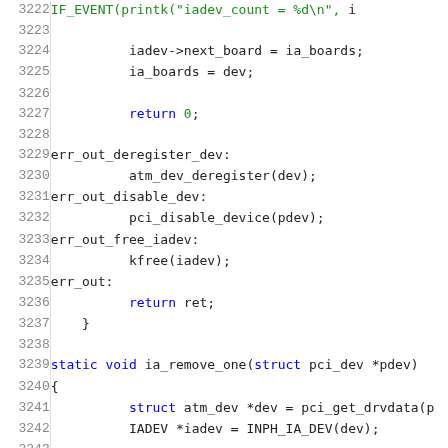[Figure (screenshot): Source code listing showing C kernel code lines 3222-3243, with line numbers on left and syntax-highlighted code on right. Keywords shown in blue and green on white background using monospace font.]